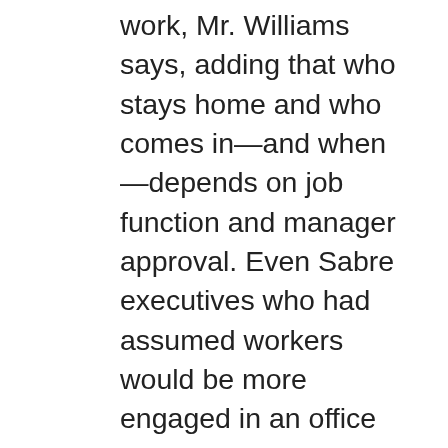work, Mr. Williams says, adding that who stays home and who comes in—and when—depends on job function and manager approval. Even Sabre executives who had assumed workers would be more engaged in an office setting came to conclude that a flexible approach better suits the new realities of employees, many of whom care for children or elderly parents, or have found a lower cost of living farther from Sabre's headquarters.
“The workforce of the future isn’t going to come in to go crank a spreadsheet. You’ll crank a spreadsheet at home just fine,” Mr. Williams says. “You’re coming in to be able to collaborate with your team, work on projects, do brainstorming, be a part of our R&D program.”